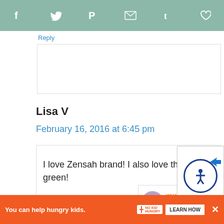[Figure (screenshot): Social sharing toolbar with icons for Facebook, Twitter, Pinterest, Email, Tumblr, and heart/like on a sage green background]
Reply
Lisa V
February 16, 2016 at 6:45 pm
I love Zensah brand! I also love the ice green!
Reply
[Figure (screenshot): Ad banner: You can help hungry kids. No Kid Hungry logo. LEARN HOW button.]